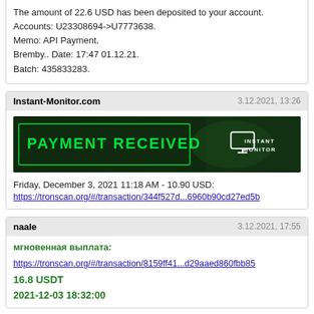The amount of 22.6 USD has been deposited to your account. Accounts: U23308694->U7773638. Memo: API Payment. Bremby.. Date: 17:47 01.12.21. Batch: 435833283.
Instant-Monitor.com  3.12.2021, 13:26
[Figure (infographic): Dark green banner with text PAYMENT RECEIVED in neon green and INSTANT MONITOR logo on right]
Friday, December 3, 2021 11:18 AM - 10.90 USD: https://tronscan.org/#/transaction/344f527d...6960b90cd27ed5b
naale  3.12.2021, 17:55
мгновенная выплата:
https://tronscan.org/#/transaction/8159ff41...d29aaed860fbb85
16.8 USDT
2021-12-03 18:32:00